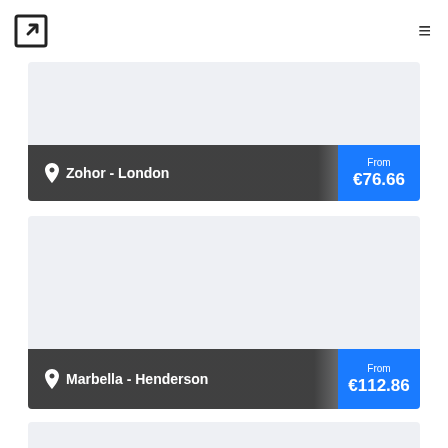Navigation header with logo and menu icon
[Figure (screenshot): Travel route card: Zohor - London, price from €76.66, light grey card with location pin icon]
[Figure (screenshot): Travel route card: Marbella - Henderson, price from €112.86, light grey card with location pin icon]
[Figure (screenshot): Partial travel route card at bottom of page, cut off]